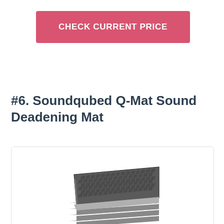CHECK CURRENT PRICE
#6. Soundqubed Q-Mat Sound Deadening Mat
[Figure (photo): Stack of Soundqubed Q-Mat sound deadening mat sheets shown in a tilted perspective view inside a white rounded-corner card]